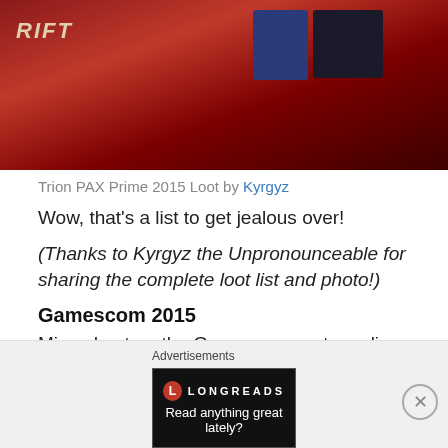[Figure (photo): Photo of Trion PAX Prime 2015 loot including a RIFT box on a red tartan/plaid background with game books/boxes]
Trion PAX Prime 2015 Loot by Kyrgyz
Wow, that’s a list to get jealous over!
(Thanks to Kyrgyz the Unpronounceable for sharing the complete loot list and photo!)
Gamescom 2015
Missed out on the Gamescom party earlier this month? Drewcifer from Trion’s Devilian site has posted up a fantastic summary of the event here, complete with a
Advertisements
[Figure (screenshot): Longreads advertisement banner: red circle logo with L, LONGREADS text, Read anything great lately?]